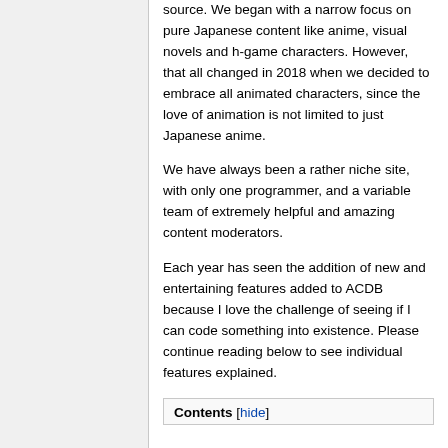source. We began with a narrow focus on pure Japanese content like anime, visual novels and h-game characters. However, that all changed in 2018 when we decided to embrace all animated characters, since the love of animation is not limited to just Japanese anime.
We have always been a rather niche site, with only one programmer, and a variable team of extremely helpful and amazing content moderators.
Each year has seen the addition of new and entertaining features added to ACDB because I love the challenge of seeing if I can code something into existence. Please continue reading below to see individual features explained.
Contents [hide]